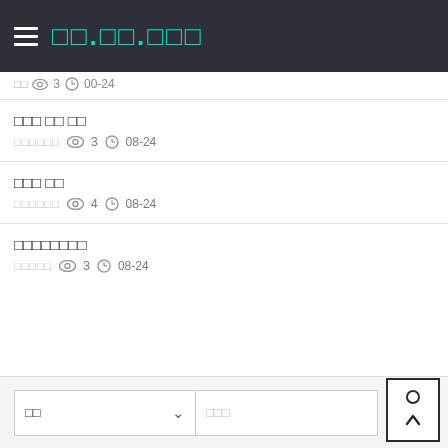□□.□□.□□□
□□ ◎3 ◎00-24
□□□ □□ □□
□□□□□□  ◎ 3  ◎ 08-24
□□□ □□
□□□□□□  ◎ 4  ◎ 08-24
□□□□□□□□
□□□□□  ◎ 3  ◎ 08-24
□□  □□□